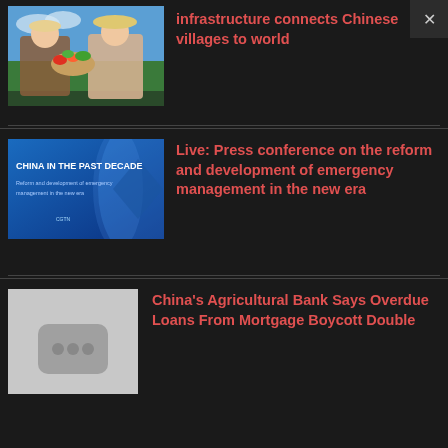[Figure (photo): Two farmers smiling, holding a basket of vegetables in a green field]
infrastructure connects Chinese villages to world
[Figure (screenshot): Blue graphic with text: CHINA IN THE PAST DECADE - Reform and development of emergency management in the new era - CGTN]
Live: Press conference on the reform and development of emergency management in the new era
[Figure (photo): Gray placeholder thumbnail with three dots icon]
China's Agricultural Bank Says Overdue Loans From Mortgage Boycott Double